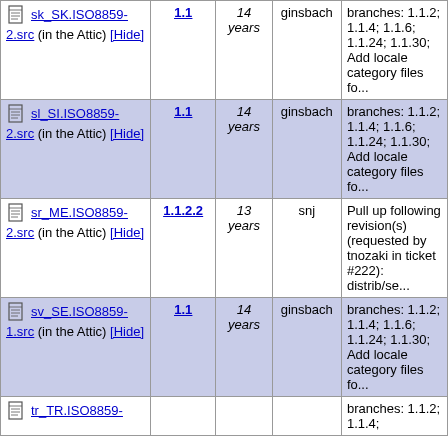| File | Rev | Age | Author | Log Message |
| --- | --- | --- | --- | --- |
| sk_SK.ISO8859-2.src (in the Attic) [Hide] | 1.1 | 14 years | ginsbach | branches: 1.1.2; 1.1.4; 1.1.6; 1.1.24; 1.1.30; Add locale category files fo... |
| sl_SI.ISO8859-2.src (in the Attic) [Hide] | 1.1 | 14 years | ginsbach | branches: 1.1.2; 1.1.4; 1.1.6; 1.1.24; 1.1.30; Add locale category files fo... |
| sr_ME.ISO8859-2.src (in the Attic) [Hide] | 1.1.2.2 | 13 years | snj | Pull up following revision(s) (requested by tnozaki in ticket #222): distrib/se... |
| sv_SE.ISO8859-1.src (in the Attic) [Hide] | 1.1 | 14 years | ginsbach | branches: 1.1.2; 1.1.4; 1.1.6; 1.1.24; 1.1.30; Add locale category files fo... |
| tr_TR.ISO8859-... |  |  |  | branches: 1.1.2; 1.1.4; |